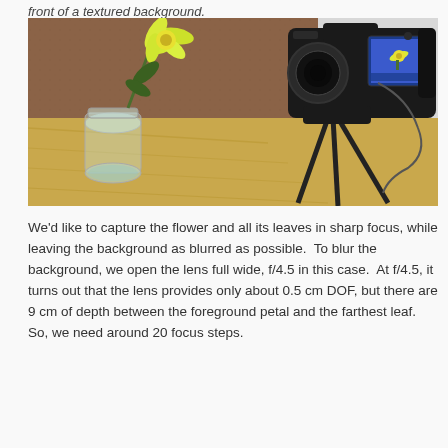front of a textured background.
[Figure (photo): A DSLR camera on a tripod photographing a yellow flower in a glass jar, placed on a wooden table in front of a textured brown background. The camera's LCD screen shows the flower preview.]
We'd like to capture the flower and all its leaves in sharp focus, while leaving the background as blurred as possible.  To blur the background, we open the lens full wide, f/4.5 in this case.  At f/4.5, it turns out that the lens provides only about 0.5 cm DOF, but there are 9 cm of depth between the foreground petal and the farthest leaf. So, we need around 20 focus steps.